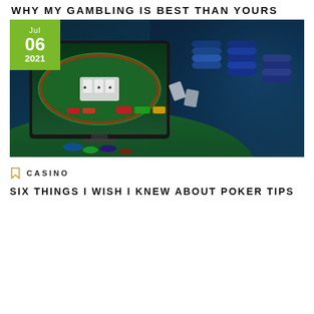WHY MY GAMBLING IS BEST THAN YOURS
[Figure (photo): Online poker interface on a computer monitor with casino chips and playing cards in the background on a green felt surface, with a date badge showing Jul 06 2021 in green.]
CASINO
SIX THINGS I WISH I KNEW ABOUT POKER TIPS